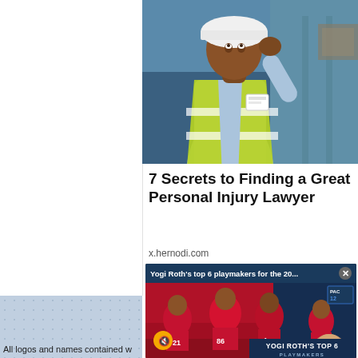[Figure (photo): Left column white space / sidebar area]
[Figure (photo): Worker in yellow-green safety vest and white hard hat, looking upward, in a warehouse or industrial setting]
7 Secrets to Finding a Great Personal Injury Lawyer
x.hernodi.com
[Figure (screenshot): Video ad overlay: 'Yogi Roth's top 6 playmakers for the 20...' showing football players in red uniforms with a PAC-12 logo, mute button, and 'YOGI ROTH'S TOP 6 PLAYMAKERS' text]
All logos and names contained w